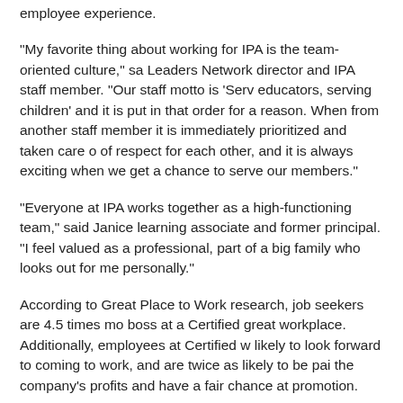employee experience.
“My favorite thing about working for IPA is the team-oriented culture,” sa Leaders Network director and IPA staff member. “Our staff motto is ‘Serv educators, serving children’ and it is put in that order for a reason. When from another staff member it is immediately prioritized and taken care o of respect for each other, and it is always exciting when we get a chance to serve our members.”
“Everyone at IPA works together as a high-functioning team,” said Janice learning associate and former principal. “I feel valued as a professional, part of a big family who looks out for me personally.”
According to Great Place to Work research, job seekers are 4.5 times mo boss at a Certified great workplace. Additionally, employees at Certified w likely to look forward to coming to work, and are twice as likely to be pai the company’s profits and have a fair chance at promotion.
About Illinois Principals Association
The Illinois Principals Association is a professional association serving m level administrators in Illinois. IPA provides professional learning and ad supporting principals and other school administrators to lead effective